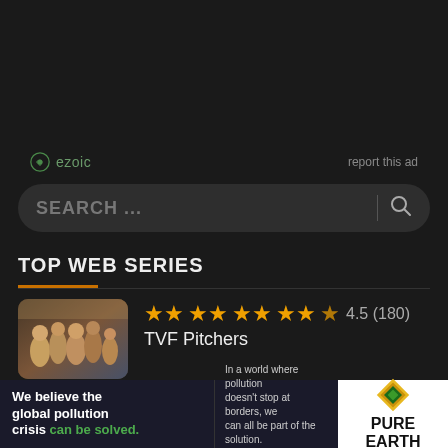[Figure (screenshot): Ezoic ad placeholder area with ezoic logo and 'report this ad' link]
ezoic    report this ad
SEARCH ...
TOP WEB SERIES
[Figure (photo): TVF Pitchers show thumbnail with group of young men]
4.5 (180)
TVF Pitchers
[Figure (photo): Criminal Justice show thumbnail]
4.4 (228)
[Figure (infographic): Pure Earth ad banner: 'We believe the global pollution crisis can be solved.' with JOIN US call to action and Pure Earth logo]